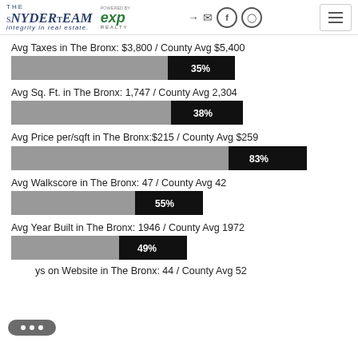The Snyder Team | integrity in real estate. | eXp Realty
Avg Taxes in The Bronx: $3,800 / County Avg $5,400
[Figure (bar-chart): ]
Avg Sq. Ft. in The Bronx: 1,747 / County Avg 2,304
[Figure (bar-chart): ]
Avg Price per/sqft in The Bronx:$215 / County Avg $259
[Figure (bar-chart): ]
Avg Walkscore in The Bronx: 47 / County Avg 42
[Figure (bar-chart): ]
Avg Year Built in The Bronx: 1946 / County Avg 1972
[Figure (bar-chart): ]
...ys on Website in The Bronx: 44 / County Avg 52